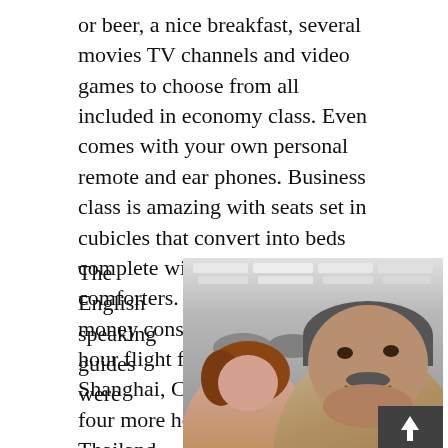or beer, a nice breakfast, several movies TV channels and video games to choose from all included in economy class. Even comes with your own personal remote and ear phones. Business class is amazing with seats set in cubicles that convert into beds complete with slippers and down comforters. Worth the extra money considering the long 14 hour flight from L.A. to Shanghai, China plus it's still four more hours from there to Thailand.
The English speaking guides were
[Figure (photo): A selfie photo of two people smiling at the camera, taken indoors, likely at an airport. A woman with reddish-brown hair is in the foreground on the left, and a middle-aged man with gray hair and a mustache is on the right, both smiling. The background shows airport ceiling lights and a crowd.]